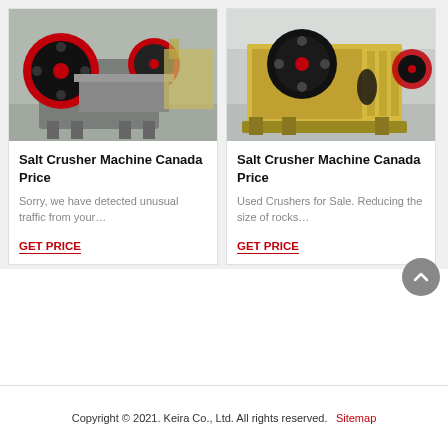[Figure (photo): Gray jaw crusher machine in a factory setting]
Salt Crusher Machine Canada Price
Sorry, we have detected unusual traffic from your…
GET PRICE
[Figure (photo): Yellow jaw crusher machine in a factory setting]
Salt Crusher Machine Canada Price
Used Crushers for Sale. Reducing the size of rocks…
GET PRICE
Copyright © 2021. Keira Co., Ltd. All rights reserved. Sitemap